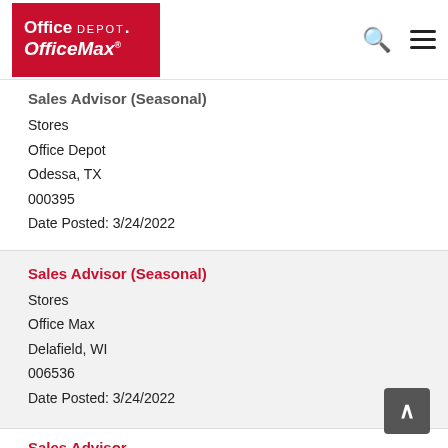Office DEPOT. OfficeMax
Sales Advisor (Seasonal)
Stores
Office Depot
Odessa, TX
000395
Date Posted: 3/24/2022
Sales Advisor (Seasonal)
Stores
Office Max
Delafield, WI
006536
Date Posted: 3/24/2022
Sales Advisor
Stores
Office Depot